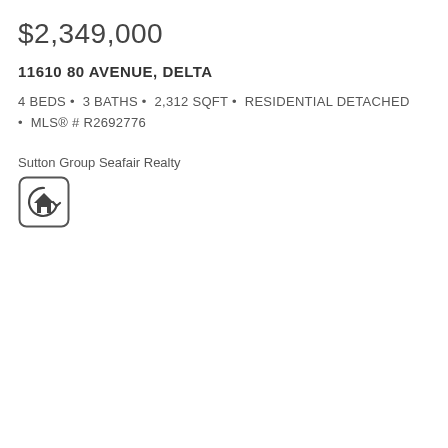$2,349,000
11610 80 AVENUE, DELTA
4 BEDS • 3 BATHS • 2,312 SQFT • RESIDENTIAL DETACHED • MLS® # R2692776
Sutton Group Seafair Realty
[Figure (logo): Rounded square logo with a house icon inside a circular arrow/refresh symbol]